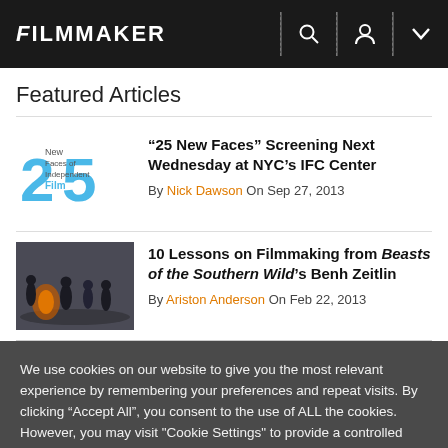FILMMAKER
Featured Articles
“25 New Faces” Screening Next Wednesday at NYC’s IFC Center By Nick Dawson On Sep 27, 2013
10 Lessons on Filmmaking from Beasts of the Southern Wild’s Benh Zeitlin By Ariston Anderson On Feb 22, 2013
We use cookies on our website to give you the most relevant experience by remembering your preferences and repeat visits. By clicking “Accept All”, you consent to the use of ALL the cookies. However, you may visit "Cookie Settings" to provide a controlled consent.